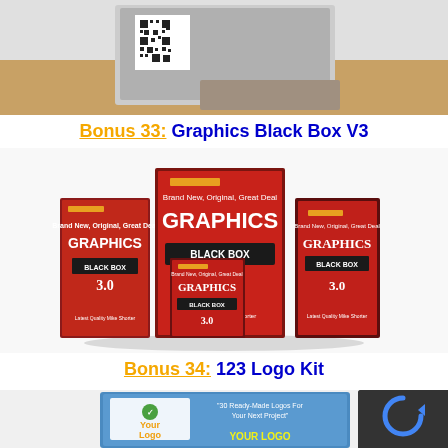[Figure (photo): Product image partially visible at top of page - a book/box with QR code on wooden surface]
Bonus 33: Graphics Black Box V3
[Figure (photo): Graphics Black Box 3.0 product bundle - multiple red boxes and books showing GRAPHICS BLACK BOX 3.0 branding]
Bonus 34: 123 Logo Kit
[Figure (photo): 123 Logo Kit product box showing 'Your Logo' text and logo examples, partially visible at bottom]